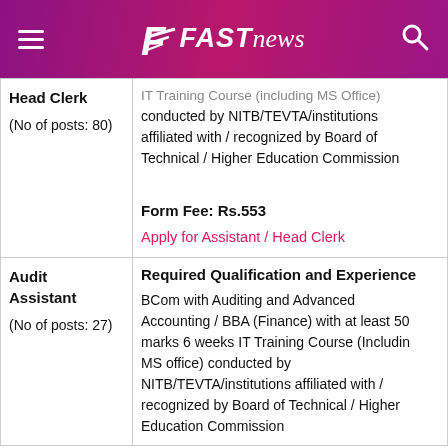FAST NEWS
| Post | Details |
| --- | --- |
| Head Clerk
(No of posts: 80) | IT Training Course (including MS Office) conducted by NITB/TEVTA/institutions affiliated with / recognized by Board of Technical / Higher Education Commission

Form Fee: Rs.553
Apply for Assistant / Head Clerk |
| Audit Assistant
(No of posts: 27) | Required Qualification and Experience
BCom with Auditing and Advanced Accounting / BBA (Finance) with at least 50 marks 6 weeks IT Training Course (Including MS office) conducted by NITB/TEVTA/institutions affiliated with / recognized by Board of Technical / Higher Education Commission |